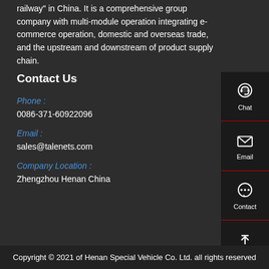railway" in China. It is a comprehensive group company with multi-module operation integrating e-commerce operation, domestic and overseas trade, and the upstream and downstream of product supply chain.
Contact Us
Phone :
0086-371-60922096
Email :
sales@talenets.com
Company Location :
Zhengzhou Henan China
[Figure (infographic): Sidebar with Chat, Email, Contact, and Top navigation icons on dark background with red dividers]
Copyright © 2021 of Henan Special Vehicle Co. Ltd. all rights reserved